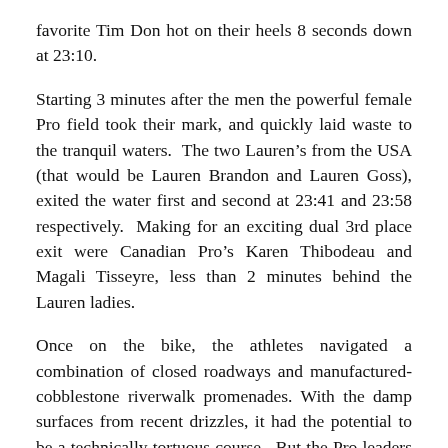favorite Tim Don hot on their heels 8 seconds down at 23:10.
Starting 3 minutes after the men the powerful female Pro field took their mark, and quickly laid waste to the tranquil waters. The two Lauren’s from the USA (that would be Lauren Brandon and Lauren Goss), exited the water first and second at 23:41 and 23:58 respectively. Making for an exciting dual 3rd place exit were Canadian Pro’s Karen Thibodeau and Magali Tisseyre, less than 2 minutes behind the Lauren ladies.
Once on the bike, the athletes navigated a combination of closed roadways and manufactured-cobblestone riverwalk promenades. With the damp surfaces from recent drizzles, it had the potential to be a technically tortuous course. But the Pro leaders did well and